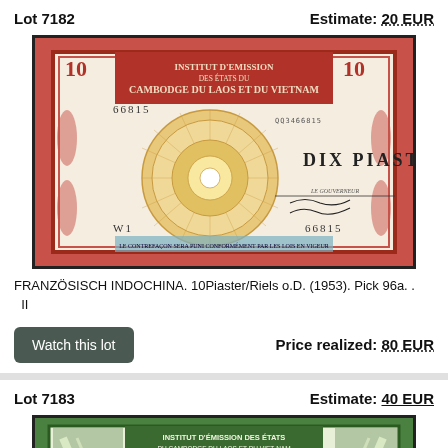Lot 7182
Estimate: 20 EUR
[Figure (photo): French Indochina 10 Piastres banknote (1953), Pick 96a. Red/ornate design with guilloché pattern, denomination 'DIX PIASTRES', serial number 66815, W1 prefix, Institut d'Emission des États du Cambodge du Laos et du Vietnam.]
FRANZÖSISCH INDOCHINA. 10Piaster/Riels o.D. (1953). Pick 96a. . II
Watch this lot
Price realized: 80 EUR
Lot 7183
Estimate: 40 EUR
[Figure (photo): French Indochina 1 Piastre banknote, green design with Institut d'Emission des États du Cambodge du Laos et du Viet-Nam, denomination UNE PIASTRE.]